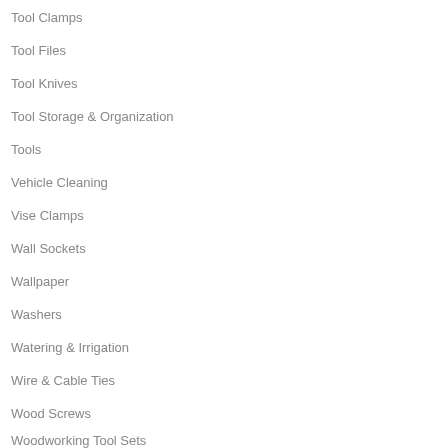Tool Clamps
Tool Files
Tool Knives
Tool Storage & Organization
Tools
Vehicle Cleaning
Vise Clamps
Wall Sockets
Wallpaper
Washers
Watering & Irrigation
Wire & Cable Ties
Wood Screws
Woodworking Tool Sets
Work & Safety Boots